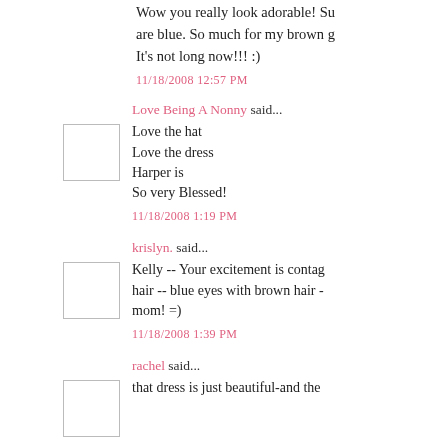Wow you really look adorable! Su are blue. So much for my brown g It's not long now!!! :)
11/18/2008 12:57 PM
Love Being A Nonny said...
Love the hat
Love the dress
Harper is
So very Blessed!
11/18/2008 1:19 PM
krislyn. said...
Kelly -- Your excitement is contag hair -- blue eyes with brown hair - mom! =)
11/18/2008 1:39 PM
rachel said...
that dress is just beautiful-and the